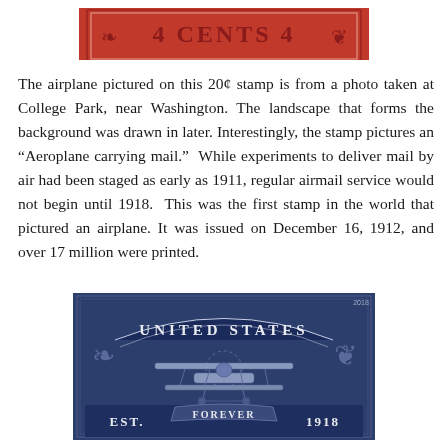[Figure (illustration): Top portion of a red/crimson postage stamp showing '4 CENTS 4' text with ornate lettering and perforated edges visible at bottom]
The airplane pictured on this 20¢ stamp is from a photo taken at College Park, near Washington. The landscape that forms the background was drawn in later. Interestingly, the stamp pictures an “Aeroplane carrying mail.”  While experiments to deliver mail by air had been staged as early as 1911, regular airmail service would not begin until 1918.  This was the first stamp in the world that pictured an airplane. It was issued on December 16, 1912, and over 17 million were printed.
[Figure (illustration): A dark navy blue United States airmail stamp showing a biplane in the center, ornate scrollwork borders, text 'UNITED STATES' at top arc, 'EST.' on lower left, 'FOREVER' on a banner ribbon at bottom center, '1918' on lower right, and '2018' in small text upper right corner. Perforated edges visible.]